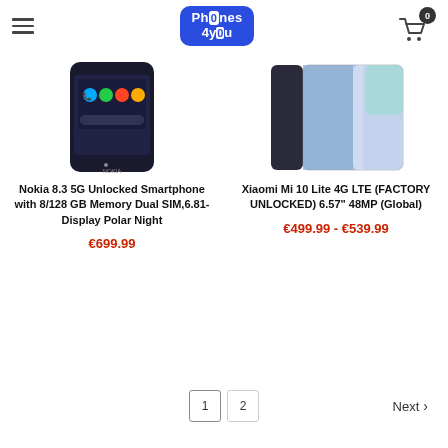Phones 4 You — navigation header with hamburger menu and cart (0 items)
[Figure (photo): Nokia 8.3 5G smartphone front-facing screen showing Android home screen with colorful app icons]
Nokia 8.3 5G Unlocked Smartphone with 8/128 GB Memory Dual SIM,6.81-Display Polar Night
€699.99
[Figure (photo): Xiaomi Mi 10 Lite 4G LTE smartphone showing side profile and screen with gradient blue-purple color]
Xiaomi Mi 10 Lite 4G LTE (FACTORY UNLOCKED) 6.57" 48MP (Global)
€499.99 - €539.99
Pagination: 1 2 Next >